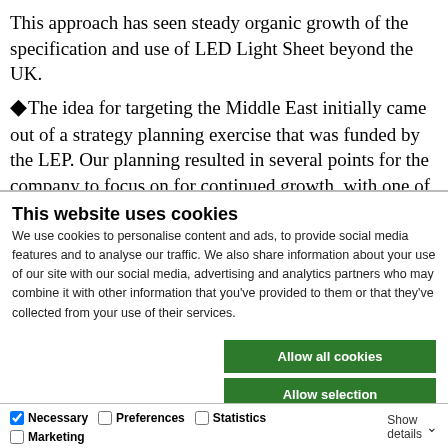This approach has seen steady organic growth of the specification and use of LED Light Sheet beyond the UK.
The idea for targeting the Middle East initially came out of a strategy planning exercise that was funded by the LEP. Our planning resulted in several points for the company to focus on for continued growth, with one of these being
This website uses cookies
We use cookies to personalise content and ads, to provide social media features and to analyse our traffic. We also share information about your use of our site with our social media, advertising and analytics partners who may combine it with other information that you've provided to them or that they've collected from your use of their services.
Allow all cookies | Allow selection | Use necessary cookies only
Necessary | Preferences | Statistics | Marketing | Show details